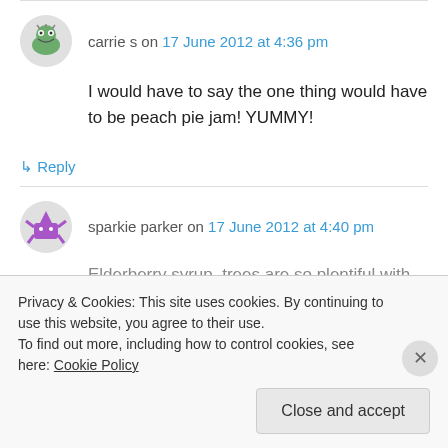carrie s on 17 June 2012 at 4:36 pm
I would have to say the one thing would have to be peach pie jam! YUMMY!
↳ Reply
sparkie parker on 17 June 2012 at 4:40 pm
Elderberry syrup, trees are so plentiful with new
Privacy & Cookies: This site uses cookies. By continuing to use this website, you agree to their use. To find out more, including how to control cookies, see here: Cookie Policy
Close and accept